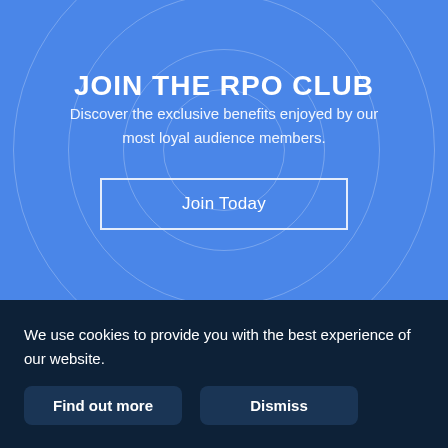JOIN THE RPO CLUB
Discover the exclusive benefits enjoyed by our most loyal audience members.
Join Today
We use cookies to provide you with the best experience of our website.
Find out more
Dismiss